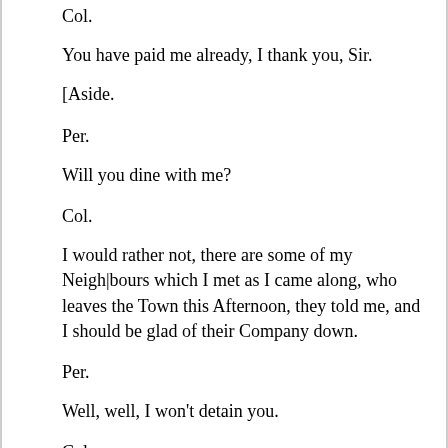Col.
You have paid me already, I thank you, Sir.
[Aside.
Per.
Will you dine with me?
Col.
I would rather not, there are some of my Neighbours which I met as I came along, who leaves the Town this Afternoon, they told me, and I should be glad of their Company down.
Per.
Well, well, I won't detain you.
Col.
I don't care how soon I am out.
[Aside.